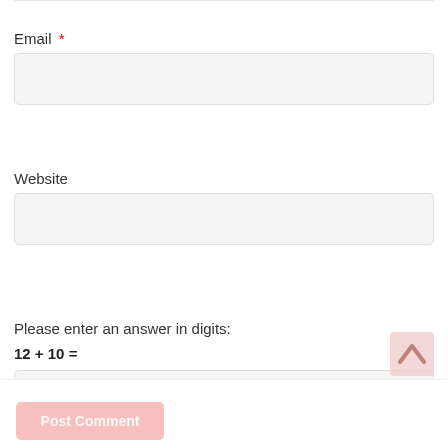Email *
Website
Please enter an answer in digits:
12 + 10 =
Post Comment